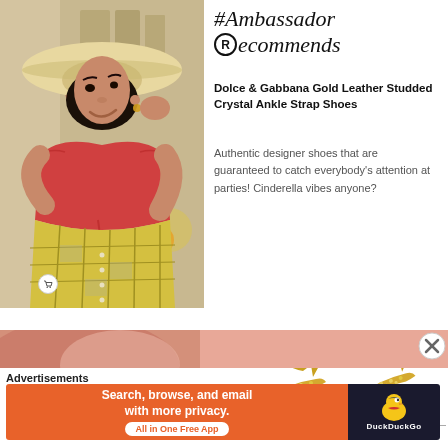[Figure (photo): Fashion photo of a young woman wearing a wide-brim straw hat and red off-shoulder crop top with yellow plaid skirt, posing in front of a colorful tiled backdrop]
#Ambassador Recommends
Dolce & Gabbana Gold Leather Studded Crystal Ankle Strap Shoes
Authentic designer shoes that are guaranteed to catch everybody's attention at parties! Cinderella vibes anyone?
[Figure (photo): Gold studded crystal ankle strap shoes by Dolce & Gabbana, two shoes displayed side by side]
[Figure (photo): Partial view of a person's face/skin — pink/skin-tone strip at bottom of page]
Advertisements
[Figure (infographic): DuckDuckGo advertisement banner: 'Search, browse, and email with more privacy. All in One Free App' on orange background, with DuckDuckGo logo on dark background]